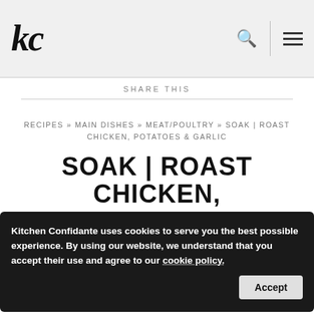kc
SHARE THIS
RECIPES » MAIN DISHES » MEAT/POULTRY » SOAK | ROAST CHICKEN, POTATOES & GARLIC
SOAK | ROAST CHICKEN, POTATOES & GARLIC
Kitchen Confidante uses cookies to serve you the best possible experience. By using our website, we understand that you accept their use and agree to our cookie policy.
by LIREN BAKER on MARCH 7 COMMENTS
This post may contain affiliate links. Please see Affiliate Disclosure in my Terms of Serv
As I sit here typing, the windows have darkened